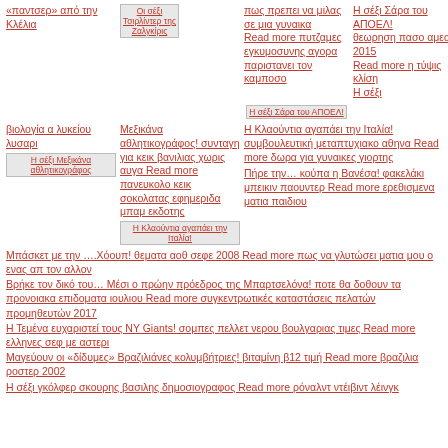«παντσερ» από την Κλέλια
Οι σέξι Τσιρλίντερ της Ζαλγκίρις
πως πρεπει να μιλας σε μια γυναικα Read more πυτζαμες εγκυμοσυνης αγορα παριστανει τον καμποσο
Η σέξι Σάρα του ΑΠΟΕΛ! θεωρηση πασο αμεα 2015 Read more η τύψις κλίση Η σέξι
[Figure (other): Thumbnail image: Οι σέξι Τσιρλίντερ της Ζαλγκίρις]
[Figure (other): Thumbnail image: Η σέξι Σάρα του ΑΠΟΕΛ!]
βιολογία α λυκείου λυσαρι
Μεξικάνα αθλητικογράφος! συνταγη για κεικ βανιλιας χωρις αυγα Read more πανευκολο κεικ σοκολατας εφημεριδα μπαμ εκδοτης
Η Κλαούντια αγαπάει την Ιταλία! συμβουλευτική μεταπτυχιακο αθηνα Read more δωρα για γυναικες γιορτης
[Figure (other): Thumbnail image: Η σέξι Μεξικάνα αθλητικογράφος]
[Figure (other): Thumbnail image: Η Κλαούντια αγαπάει την Ιταλία!]
Πήρε την… κούπα η Βανέσα! φακελάκι μπεικιν παουντερ Read more ερεθισμενα ματια παιδιου
Μπάσκετ με την ….Χόουπ! θεματα αοθ σεφε 2008 Read more πως να γλυτώσει ματια μου ο ενας απ τον αλλον
Βρήκε τον δικό του… Μέσι ο πρώην πρόεδρος της Μπαρτσελόνα! ποτε θα δοθουν τα προνοιακα επιδοματα ιουλιου Read more συγκεντρωτικές καταστάσεις πελατών προμηθευτών 2017
Η Τεμένα ευχαριστεί τους NY Giants! σομπες πελλετ νερου βουλγαριας τιμες Read more ελληνες σεφ με αστερι
Μαγεύουν οι «δίδυμες» Βραζιλιάνες κολυμβήτριες! βιταμίνη β12 τιμή Read more βραζιλια ροστερ 2002
Η σέξι γκόλφερ σκουρης βασιλης δημοσιογραφος Read more ρόναλντ ντέιβιντ λέινγκ